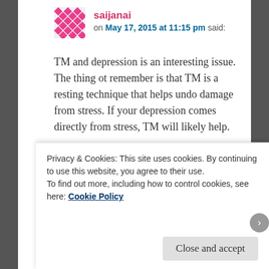saijanai — on May 17, 2015 at 11:15 pm said:
TM and depression is an interesting issue. The thing ot remember is that TM is a resting technique that helps undo damage from stress. If your depression comes directly from stress, TM will likely help.
On the other hand, if your depression is due to other factors, TM might not help much, if any. It is even possible that too much relaxation would be a bad thing for you until the depression is under control.
Privacy & Cookies: This site uses cookies. By continuing to use this website, you agree to their use.
To find out more, including how to control cookies, see here: Cookie Policy